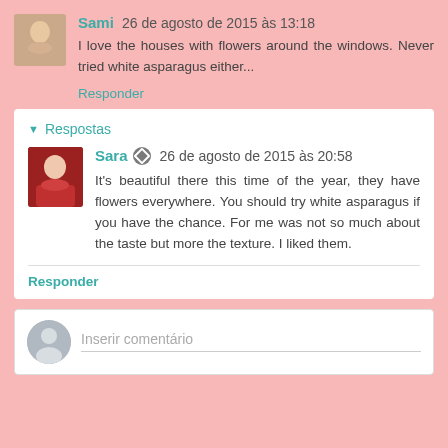Sami 26 de agosto de 2015 às 13:18
I love the houses with flowers around the windows. Never tried white asparagus either...
Responder
Respostas
Sara 26 de agosto de 2015 às 20:58
It's beautiful there this time of the year, they have flowers everywhere. You should try white asparagus if you have the chance. For me was not so much about the taste but more the texture. I liked them.
Responder
Inserir comentário